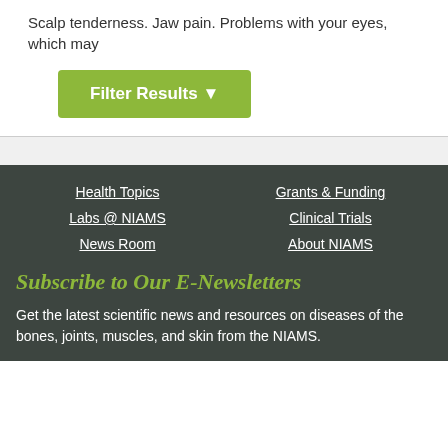Scalp tenderness. Jaw pain. Problems with your eyes, which may
[Figure (other): Green 'Filter Results' button with funnel icon]
Health Topics
Grants & Funding
Labs @ NIAMS
Clinical Trials
News Room
About NIAMS
Subscribe to Our E-Newsletters
Get the latest scientific news and resources on diseases of the bones, joints, muscles, and skin from the NIAMS.